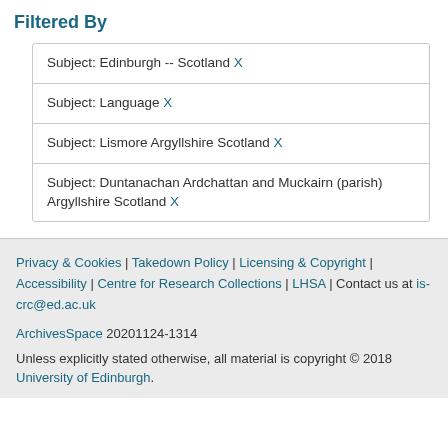Filtered By
Subject: Edinburgh -- Scotland X
Subject: Language X
Subject: Lismore Argyllshire Scotland X
Subject: Duntanachan Ardchattan and Muckairn (parish) Argyllshire Scotland X
Privacy & Cookies | Takedown Policy | Licensing & Copyright | Accessibility | Centre for Research Collections | LHSA | Contact us at is-crc@ed.ac.uk
ArchivesSpace 20201124-1314
Unless explicitly stated otherwise, all material is copyright © 2018 University of Edinburgh.